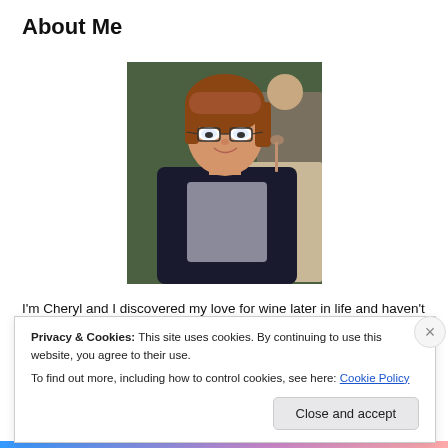About Me
[Figure (photo): Portrait photo of a woman with short reddish-brown hair wearing glasses and a black top, smiling at the camera]
I'm Cheryl and I discovered my love for wine later in life and haven't wasted any time catching up! Music has always been a passion of mine and enjoying it with a glass of wine (or two) always enhances the experience. The same is true for music; the lyrics seem more profound with a glass Vino in hand. Last, but not least is my love of food.....Fresh,
Privacy & Cookies: This site uses cookies. By continuing to use this website, you agree to their use.
To find out more, including how to control cookies, see here: Cookie Policy
Close and accept